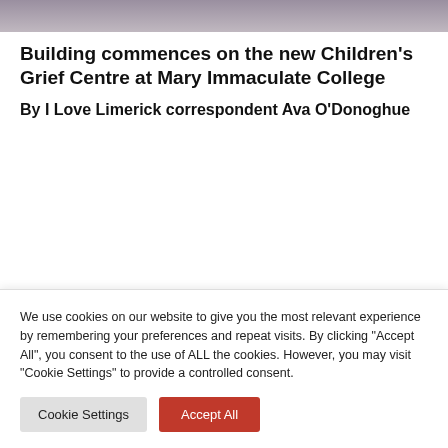[Figure (photo): Partial view of people standing outdoors, cropped at top of page]
Building commences on the new Children's Grief Centre at Mary Immaculate College
By I Love Limerick correspondent Ava O'Donoghue
We use cookies on our website to give you the most relevant experience by remembering your preferences and repeat visits. By clicking "Accept All", you consent to the use of ALL the cookies. However, you may visit "Cookie Settings" to provide a controlled consent.